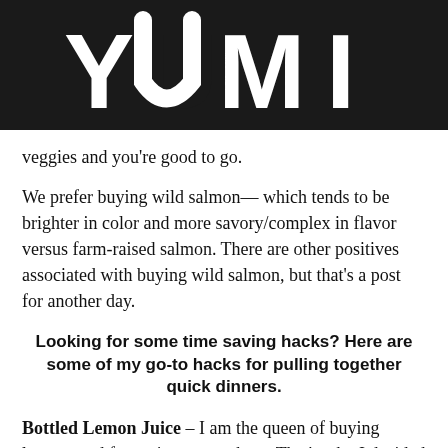[Figure (logo): YUMI logo in large white bold sans-serif text on black background]
veggies and you're good to go.
We prefer buying wild salmon— which tends to be brighter in color and more savory/complex in flavor versus farm-raised salmon. There are other positives associated with buying wild salmon, but that's a post for another day.
Looking for some time saving hacks? Here are some of my go-to hacks for pulling together quick dinners.
Bottled Lemon Juice – I am the queen of buying lemons and forgetting to use them. That's why I decided to stop buying them whole (unless I'm trying to be super fancy) and